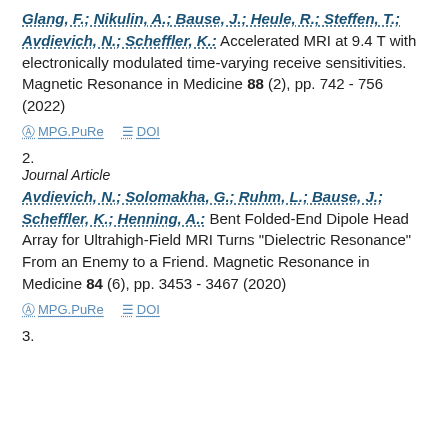Glang, F.; Nikulin, A.; Bause, J.; Heule, R.; Steffen, T.; Avdievich, N.; Scheffler, K.: Accelerated MRI at 9.4 T with electronically modulated time-varying receive sensitivities. Magnetic Resonance in Medicine 88 (2), pp. 742 - 756 (2022)
MPG.PuRe   DOI
2.
Journal Article
Avdievich, N.; Solomakha, G.; Ruhm, L.; Bause, J.; Scheffler, K.; Henning, A.: Bent Folded-End Dipole Head Array for Ultrahigh-Field MRI Turns "Dielectric Resonance" From an Enemy to a Friend. Magnetic Resonance in Medicine 84 (6), pp. 3453 - 3467 (2020)
MPG.PuRe   DOI
3.